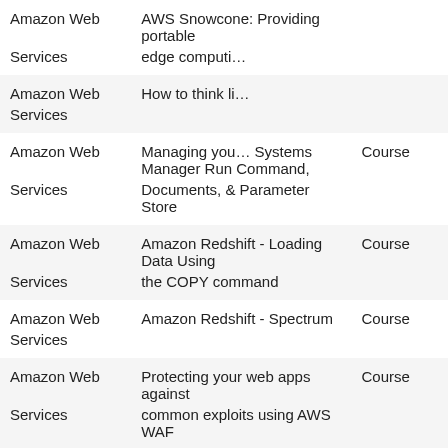| Provider | Title | Type |
| --- | --- | --- |
| Amazon Web Services | AWS Snowcone: Providing portable edge computing… |  |
| Amazon Web Services | How to think li… |  |
| Amazon Web Services | Managing you… Systems Manager Run Command, Documents, & Parameter Store | Course |
| Amazon Web Services | Amazon Redshift - Loading Data Using the COPY command | Course |
| Amazon Web Services | Amazon Redshift - Spectrum | Course |
| Amazon Web Services | Protecting your web apps against common exploits using AWS WAF | Course |
| Amazon Web Services | Amazon Redshift Key Distribution | Course |
| Amazon Web Services | Using IAM Policies to define and… | Course |